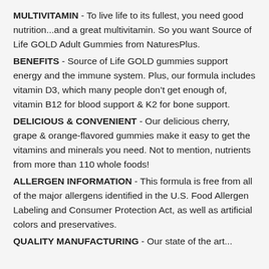MULTIVITAMIN - To live life to its fullest, you need good nutrition...and a great multivitamin. So you want Source of Life GOLD Adult Gummies from NaturesPlus.
BENEFITS - Source of Life GOLD gummies support energy and the immune system. Plus, our formula includes vitamin D3, which many people don't get enough of, vitamin B12 for blood support & K2 for bone support.
DELICIOUS & CONVENIENT - Our delicious cherry, grape & orange-flavored gummies make it easy to get the vitamins and minerals you need. Not to mention, nutrients from more than 110 whole foods!
ALLERGEN INFORMATION - This formula is free from all of the major allergens identified in the U.S. Food Allergen Labeling and Consumer Protection Act, as well as artificial colors and preservatives.
QUALITY MANUFACTURING - Our state of the art...